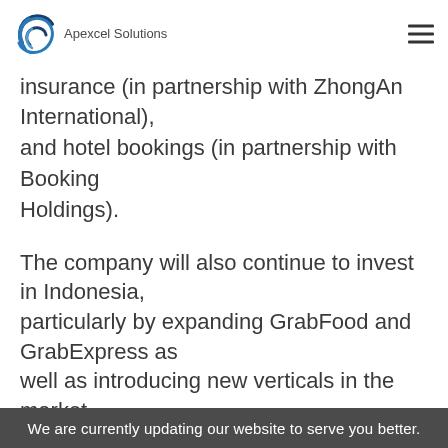Apexcel Solutions
healthcare (in partnership with Ping An Good Doctor), insurance (in partnership with ZhongAn International), and hotel bookings (in partnership with Booking Holdings).
The company will also continue to invest in Indonesia, particularly by expanding GrabFood and GrabExpress as well as introducing new verticals in the market.
Grab will use the fresh capital to boost the expansion of GrabFood and GrabExpress and roll out new verticals in the country.
Since its merger with Uber, Grab claimed to have
We are currently updating our website to serve you better.